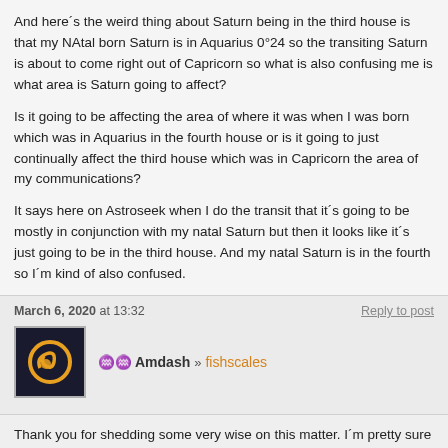And here´s the weird thing about Saturn being in the third house is that my NAtal born Saturn is in Aquarius 0°24 so the transiting Saturn is about to come right out of Capricorn so what is also confusing me is what area is Saturn going to affect?
Is it going to be affecting the area of where it was when I was born which was in Aquarius in the fourth house or is it going to just continually affect the third house which was in Capricorn the area of my communications?
It says here on Astroseek when I do the transit that it´s going to be mostly in conjunction with my natal Saturn but then it looks like it´s just going to be in the third house. And my natal Saturn is in the fourth so I´m kind of also confused.
March 6, 2020 at 13:32
Reply to post
Amdash » fishscales
Thank you for shedding some very wise on this matter. I´m pretty sure there´s a possibility you´re probably fed up of me talking about this????